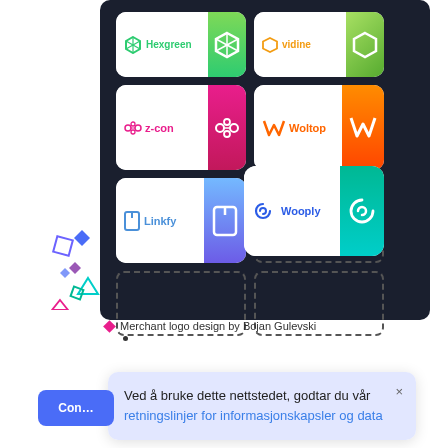[Figure (screenshot): A dark-background UI panel showing a grid of merchant logo designs: Hexgreen, Vidine, Z-con, Woltop, Linkfy, Wooply. Some cells show dashed empty placeholders. Decorative geometric shapes appear to the left.]
Merchant logo design by Bojan Gulevski
[Figure (screenshot): Cookie consent popup in Norwegian: 'Ved å bruke dette nettstedet, godtar du vår retningslinjer for informasjonskapsler og data' with a blue 'Con...' button and close X.]